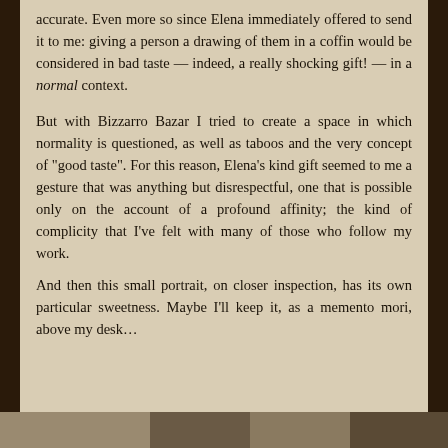accurate. Even more so since Elena immediately offered to send it to me: giving a person a drawing of them in a coffin would be considered in bad taste — indeed, a really shocking gift! — in a normal context.

But with Bizzarro Bazar I tried to create a space in which normality is questioned, as well as taboos and the very concept of "good taste". For this reason, Elena's kind gift seemed to me a gesture that was anything but disrespectful, one that is possible only on the account of a profound affinity; the kind of complicity that I've felt with many of those who follow my work.
And then this small portrait, on closer inspection, has its own particular sweetness. Maybe I'll keep it, as a memento mori, above my desk…
[Figure (photo): Bottom strip showing a partial photograph, likely related to the book content]